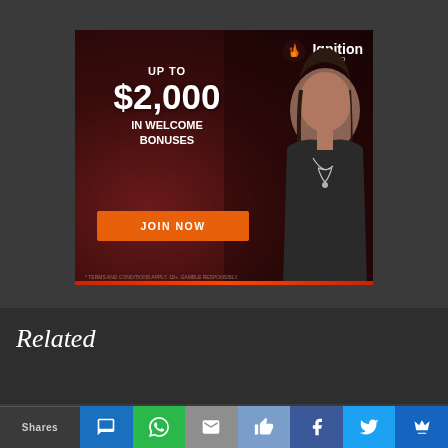[Figure (illustration): Ignition Casino advertisement banner. Dark red/maroon background with a woman in black top. Text reads: UP TO $2,000 IN WELCOME BONUSES with an orange JOIN NOW button. Ignition Casino logo in top right with flame icon.]
Related
Shares
[Figure (illustration): Social sharing bar with icons for messaging, WhatsApp, email, like, Facebook, Twitter, and Pinterest]